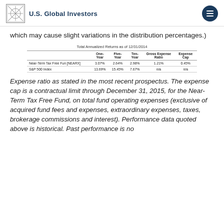U.S. Global Investors
which may cause slight variations in the distribution percentages.)
Total Annualized Returns as of 12/31/2014
|  | One-Year | Five-Year | Ten-Year | Gross Expense Ratio | Expense Cap |
| --- | --- | --- | --- | --- | --- |
| Near-Term Tax Free Fun [NEARX] | 3.07% | 2.64% | 2.98% | 1.21% | 0.45% |
| S&P 500 Index | 13.69% | 15.45% | 7.67% | n/a | n/a |
Expense ratio as stated in the most recent prospectus. The expense cap is a contractual limit through December 31, 2015, for the Near-Term Tax Free Fund, on total fund operating expenses (exclusive of acquired fund fees and expenses, extraordinary expenses, taxes, brokerage commissions and interest). Performance data quoted above is historical. Past performance is no